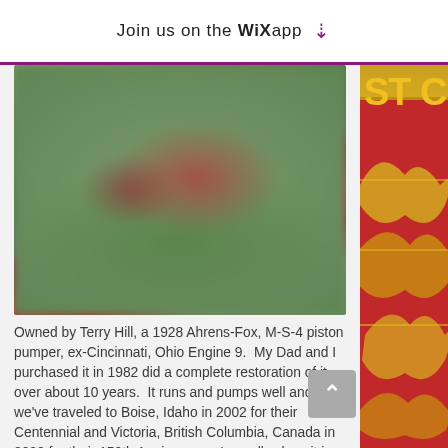Join us on the WiX app ↓
[Figure (photo): Blurred outdoor photo of a vintage 1928 Ahrens-Fox M-S-4 piston pumper fire engine, red colored, on green grass field.]
Owned by Terry Hill, a 1928 Ahrens-Fox, M-S-4 piston pumper, ex-Cincinnati, Ohio Engine 9.  My Dad and I purchased it in 1982 did a complete restoration of it over about 10 years.  It runs and pumps well and we've traveled to Boise, Idaho in 2002 for their Centennial and Victoria, British Columbia, Canada in 2008 for their 150th Anniversary.  I usually show it in two local cars shows during the year also.
It served as Engine 9 in Cincinnati until about the mid-1950's and then was sold to